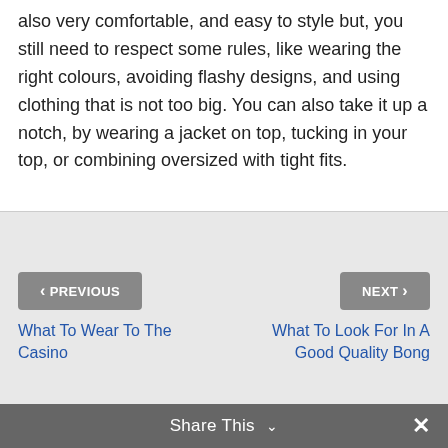also very comfortable, and easy to style but, you still need to respect some rules, like wearing the right colours, avoiding flashy designs, and using clothing that is not too big. You can also take it up a notch, by wearing a jacket on top, tucking in your top, or combining oversized with tight fits.
< PREVIOUS
NEXT >
What To Wear To The Casino
What To Look For In A Good Quality Bong
Share This ∨  ✕